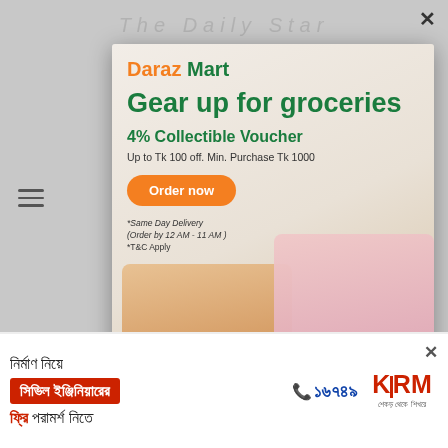[Figure (screenshot): Screenshot of a newspaper website with a Daraz Mart grocery advertisement popup overlay and a KSRM banner ad at the bottom. The Daraz ad shows 'Gear up for groceries', '4% Collectible Voucher', 'Up to Tk 100 off. Min. Purchase Tk 1000', an 'Order now' button, and two women looking at a phone with grocery items. The KSRM banner advertises civil engineering consultation services with Bengali text.]